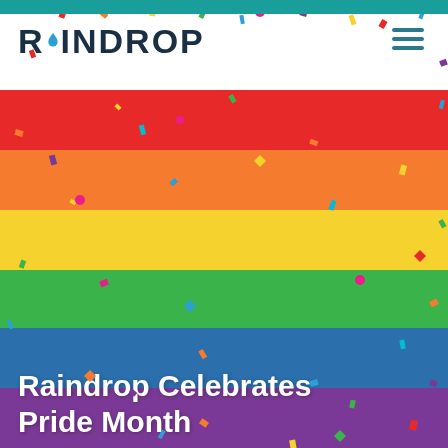[Figure (logo): Raindrop company logo with water drop replacing letter A, dark navy text on white background]
[Figure (illustration): Rainbow pride flag with six horizontal stripes (red, orange, yellow, green, blue, purple) covered with colorful confetti pieces scattered across the image. White bold text overlay reads 'Raindrop Celebrates Pride Month']
Raindrop Celebrates Pride Month